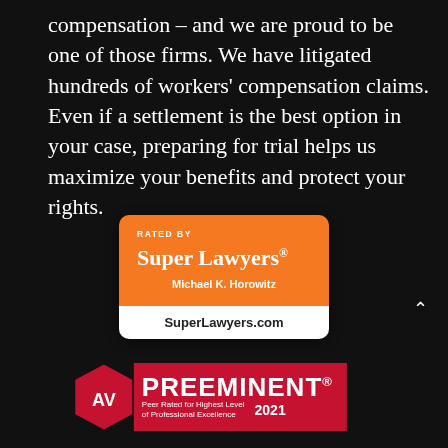compensation – and we are proud to be one of those firms. We have litigated hundreds of workers' compensation claims. Even if a settlement is the best option in your case, preparing for trial helps us maximize your benefits and protect your rights.
[Figure (logo): Super Lawyers badge (orange) rated by Super Lawyers, Michael K. Horowitz, SuperLawyers.com]
[Figure (logo): AV Preeminent badge - Peer Rated for Highest Level of Professional Excellence 2021]